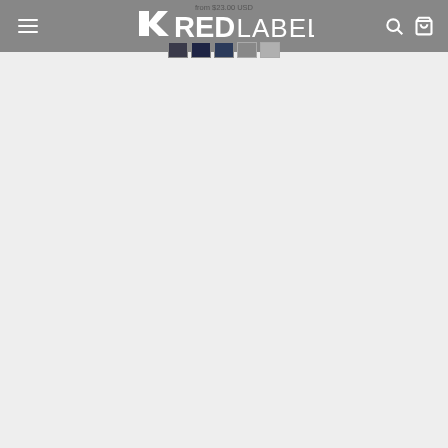Red Label navigation bar with logo, hamburger menu, search and cart icons
from $23.00 USD
[Figure (screenshot): Red Label brand logo in white on grey navigation bar]
Color swatches including dark navy and grey options